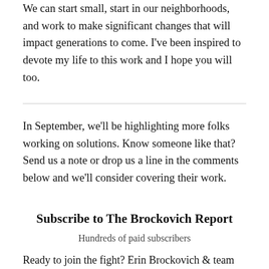We can start small, start in our neighborhoods, and work to make significant changes that will impact generations to come. I've been inspired to devote my life to this work and I hope you will too.
In September, we'll be highlighting more folks working on solutions. Know someone like that? Send us a note or drop us a line in the comments below and we'll consider covering their work.
Subscribe to The Brockovich Report
Hundreds of paid subscribers
Ready to join the fight? Erin Brockovich & team deliver